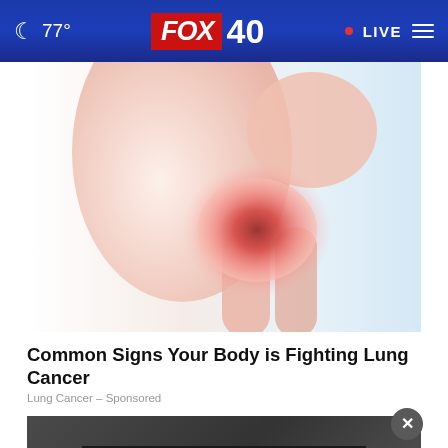77° FOX 40 • LIVE
[Figure (illustration): Medical illustration of a human knee joint or shoulder joint with red inflammation glow in the center, pink/peach anatomical tones against a light blue background]
Common Signs Your Body is Fighting Lung Cancer
Lung Cancer – Sponsored
[Figure (photo): Dark background photo with a banner ad: 'Veterans, you're not alone.' showing a person in military clothing. Has an X close button overlay.]